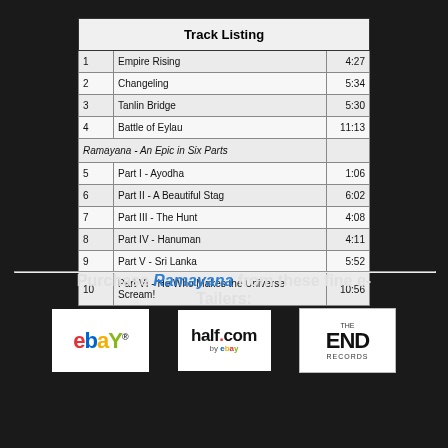|  | Track Title | Duration |
| --- | --- | --- |
| 1 | Empire Rising | 4:27 |
| 2 | Changeling | 5:34 |
| 3 | Tanlin Bridge | 5:30 |
| 4 | Battle of Eylau | 11:13 |
|  | Ramayana - An Epic in Six Parts |  |
| 5 | Part I - Ayodha | 1:06 |
| 6 | Part II - A Beautiful Stag | 6:02 |
| 7 | Part III - The Hunt | 4:08 |
| 8 | Part IV - Hanuman | 4:11 |
| 9 | Part V - Sri Lanka | 5:52 |
| 10 | Part VI - He Who Makes the Universe Scream! | 10:56 |
Purchase Ramayana from these fine e-Tailers:
[Figure (logo): eBay logo]
[Figure (logo): half.com by eBay logo]
[Figure (logo): The END Records logo]